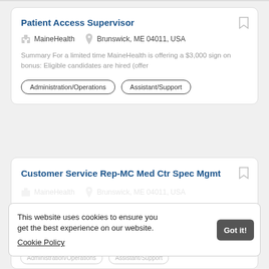Patient Access Supervisor
MaineHealth  Brunswick, ME 04011, USA
Summary For a limited time MaineHealth is offering a $3,000 sign on bonus: Eligible candidates are hired (offer
Administration/Operations
Assistant/Support
Customer Service Rep-MC Med Ctr Spec Mgmt
MaineHealth  Brunswick, ME 04011, USA
Summary Position Summary Performs customer service duties including data input/retrieval of patient
This website uses cookies to ensure you get the best experience on our website. Cookie Policy
Administration/Operations
Assistant/Support